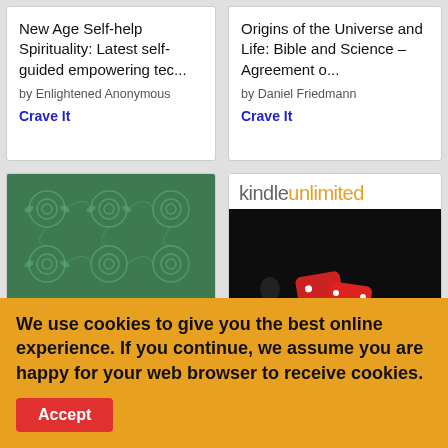New Age Self-help Spirituality: Latest self-guided empowering tec...
by Enlightened Anonymous
Crave It
Origins of the Universe and Life: Bible and Science – Agreement o...
by Daniel Friedmann
Crave It
[Figure (illustration): Book cover: Orthodox Christianity and Gender – Dynamics of Tradition, Culture and Lived Practice. Green decorative pattern cover with white text area at bottom. Series: Routledge Studies in Religion. Edited by (names cut off).]
[Figure (illustration): Kindle Unlimited banner showing book 'Probulism: A religion' with red dice on dark background]
We use cookies to give you the best online experience. If you continue, we assume you are happy for your web browser to receive cookies.
Accept